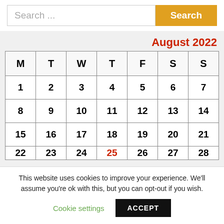[Figure (screenshot): Search bar with text input placeholder 'Search ...' and an orange 'Search' button on the right]
August 2022
| M | T | W | T | F | S | S |
| --- | --- | --- | --- | --- | --- | --- |
| 1 | 2 | 3 | 4 | 5 | 6 | 7 |
| 8 | 9 | 10 | 11 | 12 | 13 | 14 |
| 15 | 16 | 17 | 18 | 19 | 20 | 21 |
| 22 | 23 | 24 | 25 | 26 | 27 | 28 |
This website uses cookies to improve your experience. We'll assume you're ok with this, but you can opt-out if you wish.
Cookie settings   ACCEPT